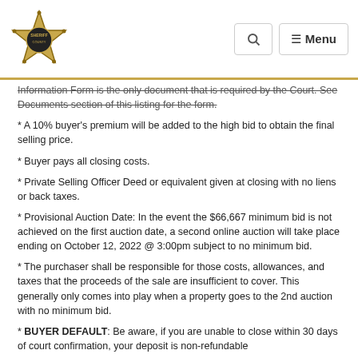[Sheriff logo] [Search] [Menu]
Information Form is the only document that is required by the Court. See Documents section of this listing for the form.
* A 10% buyer's premium will be added to the high bid to obtain the final selling price.
* Buyer pays all closing costs.
* Private Selling Officer Deed or equivalent given at closing with no liens or back taxes.
* Provisional Auction Date: In the event the $66,667 minimum bid is not achieved on the first auction date, a second online auction will take place ending on October 12, 2022 @ 3:00pm subject to no minimum bid.
* The purchaser shall be responsible for those costs, allowances, and taxes that the proceeds of the sale are insufficient to cover. This generally only comes into play when a property goes to the 2nd auction with no minimum bid.
* BUYER DEFAULT: Be aware, if you are unable to close within 30 days of court confirmation, your deposit is non-refundable.